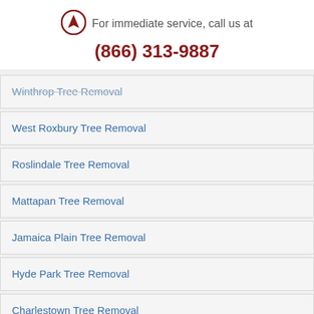[Figure (logo): Circular logo with arrow/navigation icon in dark red]
For immediate service, call us at
(866) 313-9887
Winthrop Tree Removal
West Roxbury Tree Removal
Roslindale Tree Removal
Mattapan Tree Removal
Jamaica Plain Tree Removal
Hyde Park Tree Removal
Charlestown Tree Removal